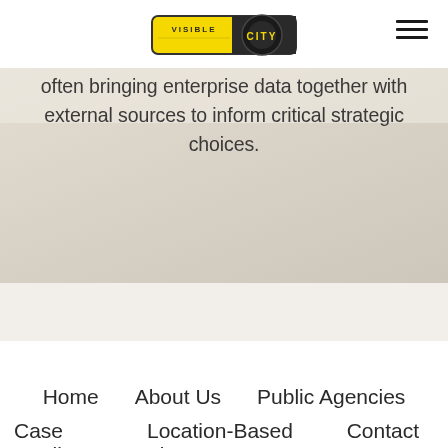Visible City logo and navigation toggle
[Figure (logo): Visible City logo: yellow and dark badge-style logo with text VISIBLE CITY]
often bringing enterprise data together with external sources to inform critical strategic choices.
Home   About Us   Public Agencies   Case Studies   Location-Based Firms   Contact Us